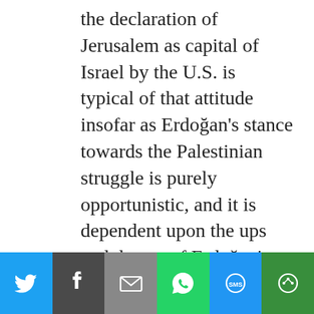the declaration of Jerusalem as capital of Israel by the U.S. is typical of that attitude insofar as Erdoğan's stance towards the Palestinian struggle is purely opportunistic, and it is dependent upon the ups and downs of Erdoğan's foreign policy needs and alliances.

This was also true in relation to the Arab revolts. The AKP government saw the Arab uprisings as a great opportunity to enhance its regional status. The belief was that Turkey could provide the Arab countries with a model...
[Figure (infographic): Social sharing toolbar with buttons for Twitter, Facebook, Email, WhatsApp, SMS, and More (share) options]